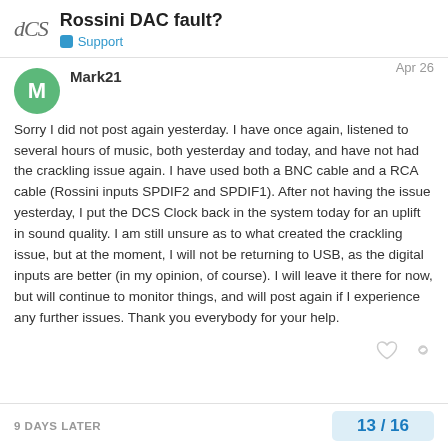Rossini DAC fault? | Support
Mark21 — Apr 26
Sorry I did not post again yesterday. I have once again, listened to several hours of music, both yesterday and today, and have not had the crackling issue again. I have used both a BNC cable and a RCA cable (Rossini inputs SPDIF2 and SPDIF1). After not having the issue yesterday, I put the DCS Clock back in the system today for an uplift in sound quality. I am still unsure as to what created the crackling issue, but at the moment, I will not be returning to USB, as the digital inputs are better (in my opinion, of course). I will leave it there for now, but will continue to monitor things, and will post again if I experience any further issues. Thank you everybody for your help.
9 DAYS LATER
13 / 16